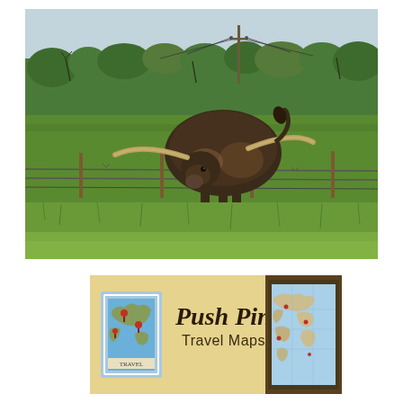[Figure (photo): A longhorn cattle standing behind a barbed wire fence in a green grassy field with dense shrubs and trees in the background. A utility pole is visible in the distance under a pale sky.]
[Figure (photo): Advertisement or logo for Push Pin Travel Maps, showing a decorative postage stamp icon on the left with a map design and red push pins, the text 'Push Pin Travel Maps' in script and sans-serif fonts on a cream/tan background, and a partial view of a framed world map on the right side.]